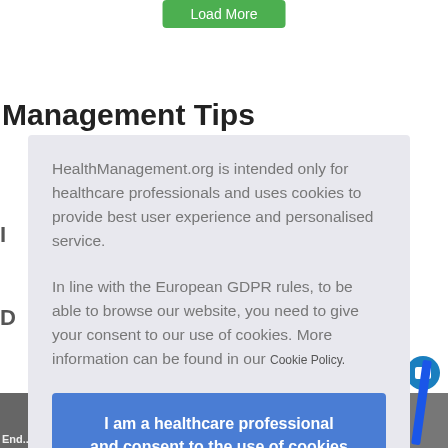[Figure (screenshot): Partially visible 'Load More' green button at top of page]
Management Tips
HealthManagement.org is intended only for healthcare professionals and uses cookies to provide best user experience and personalised service.

In line with the European GDPR rules, to be able to browse our website, you need to give your consent to our use of cookies. More information can be found in our Cookie Policy.
I am a healthcare professional and consent to the use of cookies